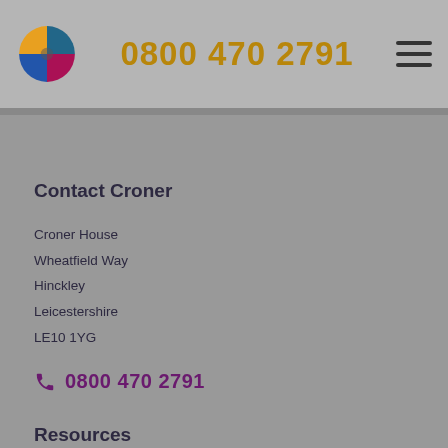0800 470 2791
Contact Croner
Croner House
Wheatfield Way
Hinckley
Leicestershire
LE10 1YG
0800 470 2791
Resources
Free Downloads